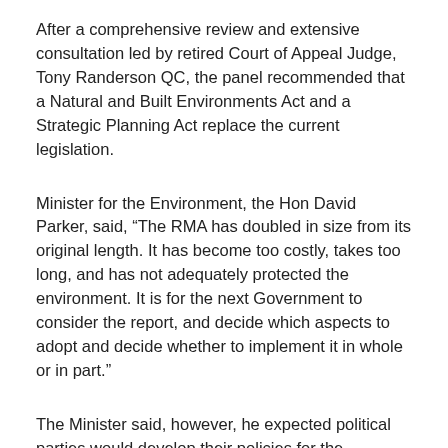After a comprehensive review and extensive consultation led by retired Court of Appeal Judge, Tony Randerson QC, the panel recommended that a Natural and Built Environments Act and a Strategic Planning Act replace the current legislation.
Minister for the Environment, the Hon David Parker, said, “The RMA has doubled in size from its original length. It has become too costly, takes too long, and has not adequately protected the environment. It is for the next Government to consider the report, and decide which aspects to adopt and decide whether to implement it in whole or in part.”
The Minister said, however, he expected political parties would develop their policies for the upcoming general election campaign in light of the report’s findings.